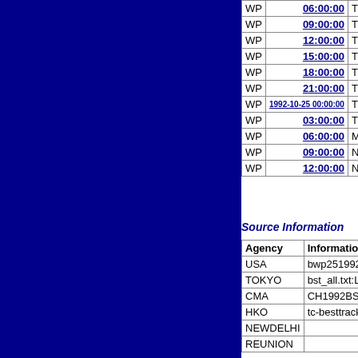| Basin | Time | Type | Value |
| --- | --- | --- | --- |
| WP | 06:00:00 | TS | 26.2... |
| WP | 09:00:00 | TS | 27.0... |
| WP | 12:00:00 | TS | 27.9... |
| WP | 15:00:00 | TS | 28.9... |
| WP | 18:00:00 | TS | 30.0... |
| WP | 21:00:00 | TS | 31.0... |
| WP | 1992-10-25 00:00:00 | TS | 32.1... |
| WP | 03:00:00 | TS | 32.8... |
| WP | 06:00:00 | MX | 33.4... |
| WP | 09:00:00 | NR | 33.2... |
| WP | 12:00:00 | NR | 33.5... |
Source Information
| Agency | Information |
| --- | --- |
| USA | bwp251992.txt |
| TOKYO | bst_all.txt:Line=42015:BR... |
| CMA | CH1992BST.txt:Storm=27... |
| HKO | tc-besttrack-data-current.t... |
| NEWDELHI |  |
| REUNION |  |